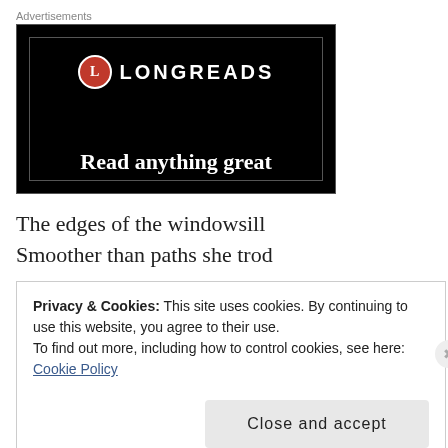Advertisements
[Figure (screenshot): Longreads advertisement banner with black background, red circle logo with 'L', bold text 'LONGREADS', and tagline 'Read anything great']
The edges of the windowsill
Smoother than paths she trod
Privacy & Cookies: This site uses cookies. By continuing to use this website, you agree to their use.
To find out more, including how to control cookies, see here:
Cookie Policy
Close and accept